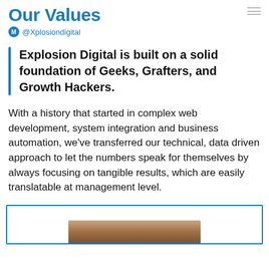Our Values
@Xplosiondigital
Explosion Digital is built on a solid foundation of Geeks, Grafters, and Growth Hackers.
With a history that started in complex web development, system integration and business automation, we've transferred our technical, data driven approach to let the numbers speak for themselves by always focusing on tangible results, which are easily translatable at management level.
[Figure (photo): Partial view of a photo inside a blue-bordered frame at the bottom of the page, showing what appears to be people.]